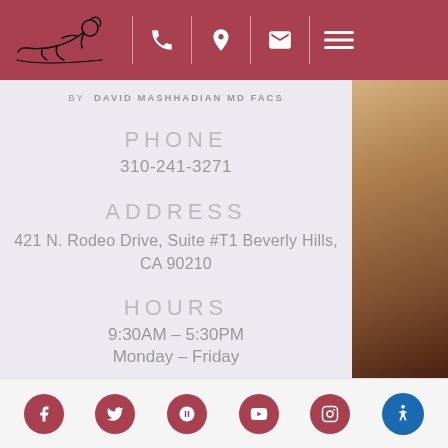Header navigation bar with logo and icons for phone, location, email, menu
by DAVID MASHHADIAN MD FACS
PHONE
310-241-3271
ADDRESS
421 N. Rodeo Drive, Suite #T1 Beverly Hills, CA 90210
HOURS
9:30AM – 5:30PM
Monday – Friday
Social media icons: Facebook, Twitter, Yelp, YouTube, Instagram. Accessibility button.